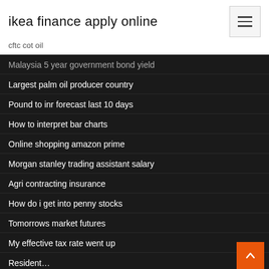ikea finance apply online
cftc cot oil
Malaysia 5 year government bond yield
Largest palm oil producer country
Pound to inr forecast last 10 days
How to interpret bar charts
Online shopping amazon prime
Morgan stanley trading assistant salary
Agri contracting insurance
How do i get into penny stocks
Tomorrows market futures
My effective tax rate went up
Resident…